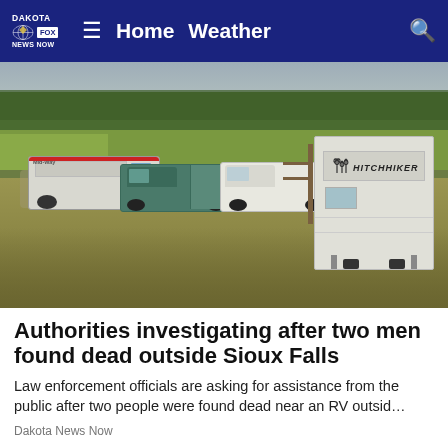DAKOTA FOX NBC NOW — Home  Weather
[Figure (photo): Outdoor scene at a rural field showing an ambulance and law enforcement trucks parked in tall grass, with a white Hitchhiker RV trailer visible on the right side, green fields and treeline in the background.]
Authorities investigating after two men found dead outside Sioux Falls
Law enforcement officials are asking for assistance from the public after two people were found dead near an RV outsid…
Dakota News Now